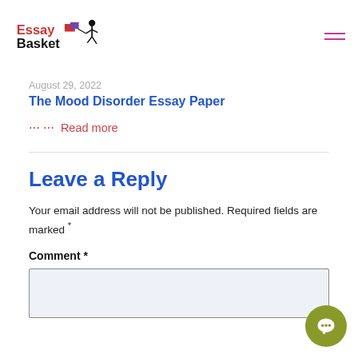Essay Basket logo and navigation menu
August 29, 2022
The Mood Disorder Essay Paper
Read more
Leave a Reply
Your email address will not be published. Required fields are marked *
Comment *